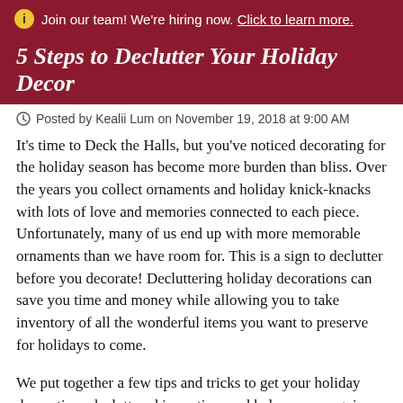Join our team! We're hiring now. Click to learn more.
5 Steps to Declutter Your Holiday Decor
Posted by Kealii Lum on November 19, 2018 at 9:00 AM
It's time to Deck the Halls, but you've noticed decorating for the holiday season has become more burden than bliss. Over the years you collect ornaments and holiday knick-knacks with lots of love and memories connected to each piece. Unfortunately, many of us end up with more memorable ornaments than we have room for. This is a sign to declutter before you decorate! Decluttering holiday decorations can save you time and money while allowing you to take inventory of all the wonderful items you want to preserve for holidays to come.
We put together a few tips and tricks to get your holiday decorations decluttered in no time and help you recognize items that may work well as heirlooms